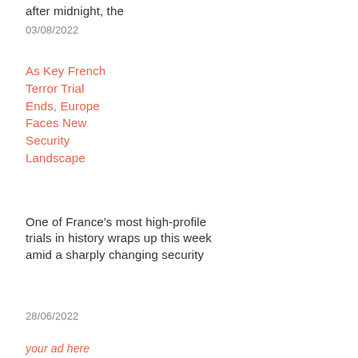after midnight, the
03/08/2022
As Key French Terror Trial Ends, Europe Faces New Security Landscape
One of France's most high-profile trials in history wraps up this week amid a sharply changing security
28/06/2022
your ad here